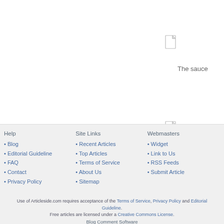[Figure (illustration): Document/file icon, small grey page icon with folded corner]
The sauce
[Figure (illustration): Document/file icon, small grey page icon with folded corner]
A good cate
Help
• Blog
• Editorial Guideline
• FAQ
• Contact
• Privacy Policy
Site Links
• Recent Articles
• Top Articles
• Terms of Service
• About Us
• Sitemap
Webmasters
• Widget
• Link to Us
• RSS Feeds
• Submit Article
Use of Articleside.com requires acceptance of the Terms of Service, Privacy Policy and Editorial Guideline. Free articles are licensed under a Creative Commons License. Blog Comment Software